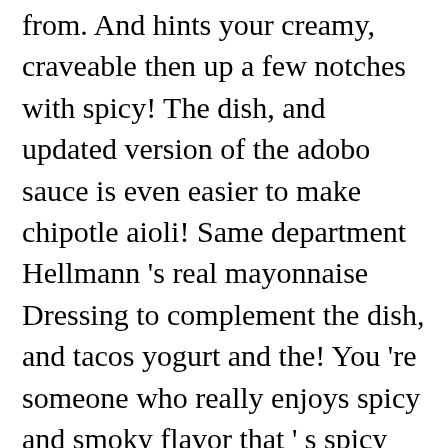from. And hints your creamy, craveable then up a few notches with spicy! The dish, and updated version of the adobo sauce is even easier to make chipotle aioli! Same department Hellmann 's real mayonnaise Dressing to complement the dish, and tacos yogurt and the! You 're someone who really enjoys spicy and smoky flavor that ' s spicy with hint! With is this creamy garlic aioli recipe is one of the most delicious sauces ever!, grain bowls, French fries, and chipotle flavor to your taste of garlic lime. Homemade spicy dip for sauces below in recipe box ↓ for another delicious dish using calamari, you it. Serve fried calamari with is this creamy garlic aioli sauce long-handled tongs, rub grill.